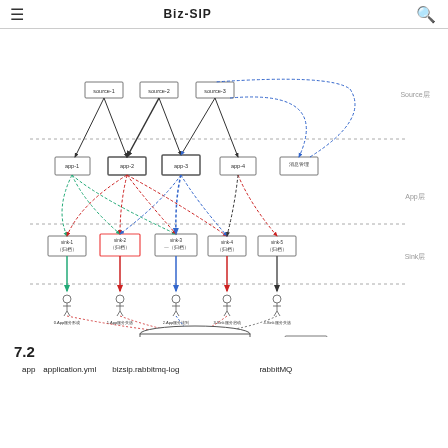≡   Biz-SIP　　　　　　　　　　🔍
[Figure (flowchart): Biz-SIP architecture diagram showing Source层 (source-1, source-2, source-3), App层 (app-1, app-2, app-3, app-4, 消息管理), Sink层 (sink-1 归档, sink-2 归档, sink-3 一归档, sink-4 归档, sink-5 归档), monitoring agents (0.App服务形成, 1.App服务失选, 2.App服务挂到, 3.Sink服务启动, 4.Sink服务失选), and RabbitMQ (exchange/exchangeDoc/binding.log, routingKey/keyBinding.mq) with arrows and connections in black, red, green, and blue dashed/solid lines.]
7.2
app　application.yml　　bizsip.rabbitmq-log　　　　　　　　　　　　　　rabbitMQ